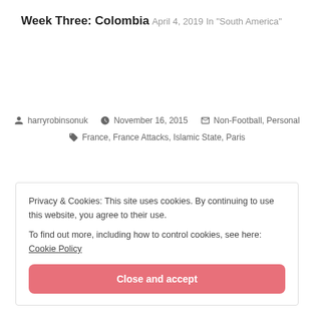Week Three: Colombia
April 4, 2019
In "South America"
harryrobinsonuk   November 16, 2015   Non-Football, Personal
France, France Attacks, Islamic State, Paris
Privacy & Cookies: This site uses cookies. By continuing to use this website, you agree to their use.
To find out more, including how to control cookies, see here: Cookie Policy
Close and accept